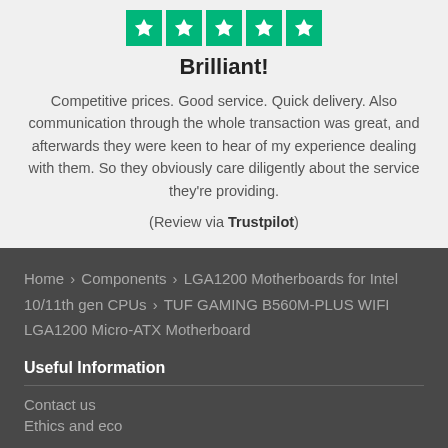[Figure (other): Five green star rating boxes (Trustpilot style)]
Brilliant!
Competitive prices. Good service. Quick delivery. Also communication through the whole transaction was great, and afterwards they were keen to hear of my experience dealing with them. So they obviously care diligently about the service they're providing.
(Review via Trustpilot)
Home › Components › LGA1200 Motherboards for Intel 10/11th gen CPUs › TUF GAMING B560M-PLUS WIFI LGA1200 Micro-ATX Motherboard
Useful Information
Contact us
Ethics and eco